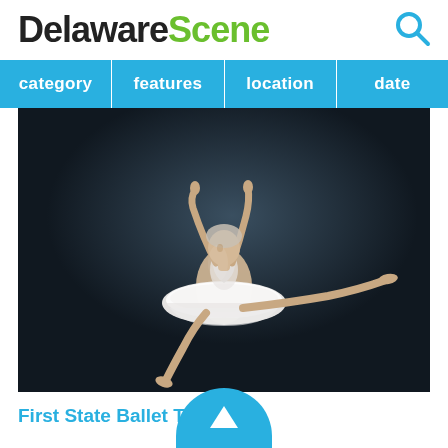DelawareScene
category
features
location
date
[Figure (photo): Ballet dancer in white tutu leaping against a dark blue background, arms raised, one leg extended behind in arabesque jump.]
First State Ballet T…